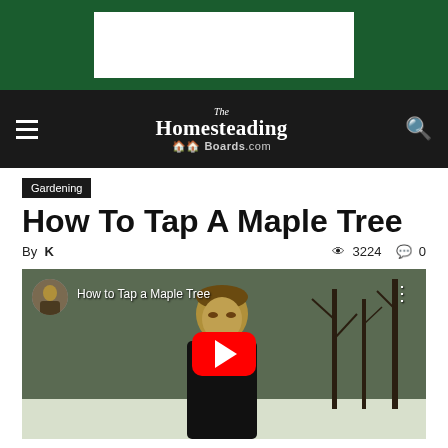[Figure (screenshot): Green ad banner at top of page with white advertisement placeholder rectangle]
The Homesteading Boards.com — navigation bar with hamburger menu and search icon
Gardening
How To Tap A Maple Tree
By K  👁 3224  💬 0
[Figure (screenshot): YouTube video thumbnail showing a man outdoors in winter near bare trees with snow, video title 'How to Tap a Maple Tree', red YouTube play button in center]